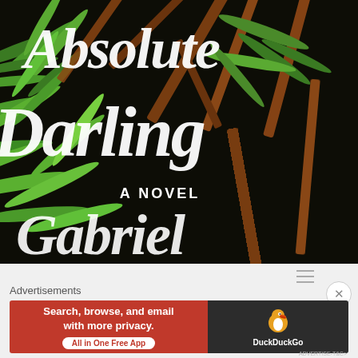[Figure (illustration): Book cover of 'Absolute Darling: A Novel' — dark background with pine branches and warm-toned sticks/cinnamon, white italic/script lettering for title and author name partially visible, subtitle 'A NOVEL' in white serif caps]
Advertisements
[Figure (other): DuckDuckGo advertisement banner — orange/red left side reads 'Search, browse, and email with more privacy. All in One Free App', dark right side shows DuckDuckGo duck logo and brand name]